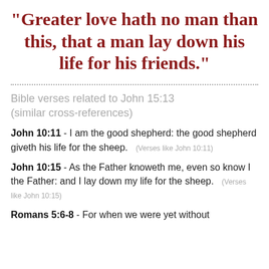“Greater love hath no man than this, that a man lay down his life for his friends.”
Bible verses related to John 15:13 (similar cross-references)
John 10:11 - I am the good shepherd: the good shepherd giveth his life for the sheep. (Verses like John 10:11)
John 10:15 - As the Father knoweth me, even so know I the Father: and I lay down my life for the sheep. (Verses like John 10:15)
Romans 5:6-8 - For when we were yet without